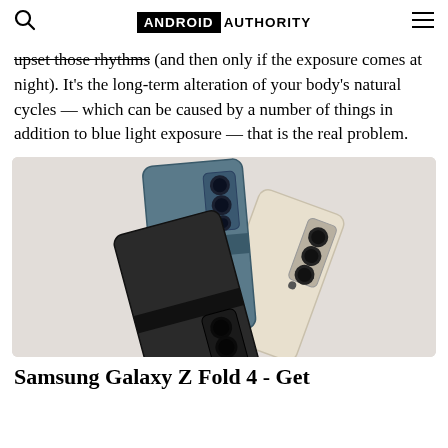ANDROID AUTHORITY
upset those rhythms (and then only if the exposure comes at night). It’s the long-term alteration of your body’s natural cycles — which can be caused by a number of things in addition to blue light exposure — that is the real problem.
[Figure (photo): Three Samsung Galaxy Z Fold 4 smartphones arranged in a fan/stack layout showing their rear camera modules, in blue, black, and cream/beige colors, photographed on a white background.]
Samsung Galaxy Z Fold 4 - Get